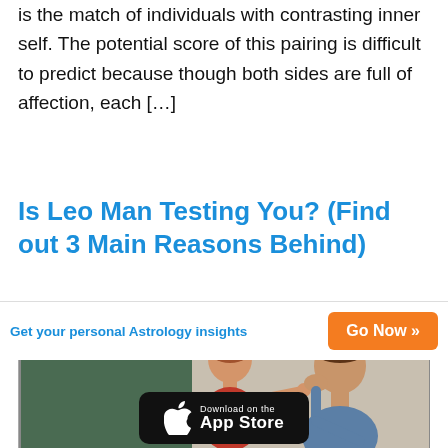is the match of individuals with contrasting inner self. The potential score of this pairing is difficult to predict because though both sides are full of affection, each [...]
Is Leo Man Testing You? (Find out 3 Main Reasons Behind)
[Figure (photo): A woman whispering to a man who looks away with hand on cheek, appearing disinterested, in a room with a green wall background.]
Get your personal Astrology insights   Go Now »
[Figure (logo): Download on the App Store button (Apple App Store badge, black background)]